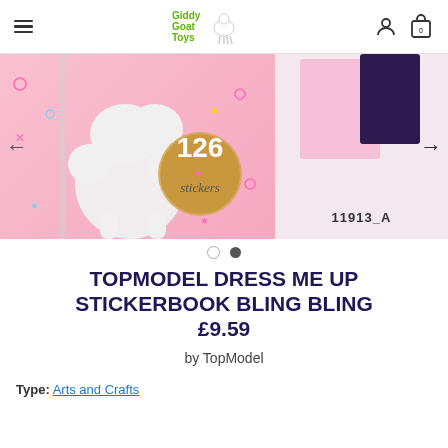Giddy Goat Toys — navigation header with hamburger menu, logo, user icon, and cart (0)
[Figure (photo): Product image carousel showing TopModel Dress Me Up Stickerbook Bling Bling. Main slide: pink background with fluffy white dog/poodle paws and legs, sticker book cover with '126 stickers' badge. Second slide: product code 11913_A with partial product packaging visible.]
TOPMODEL DRESS ME UP STICKERBOOK BLING BLING £9.59
by TopModel
Type: Arts and Crafts